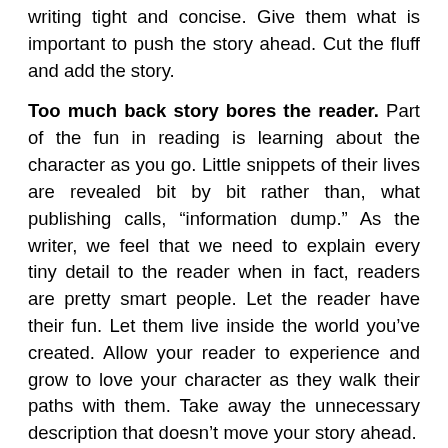writing tight and concise. Give them what is important to push the story ahead. Cut the fluff and add the story.
Too much back story bores the reader. Part of the fun in reading is learning about the character as you go. Little snippets of their lives are revealed bit by bit rather than, what publishing calls, "information dump." As the writer, we feel that we need to explain every tiny detail to the reader when in fact, readers are pretty smart people. Let the reader have their fun. Let them live inside the world you've created. Allow your reader to experience and grow to love your character as they walk their paths with them. Take away the unnecessary description that doesn't move your story ahead.
Make fiction believable – Even in a fiction story, the reader will draw a line in the sand for believability. If you cross over it, they label it corny or worse, unbelievable. I talked with an author once whose protagonist rode his horse over a cliff into the crashing waves and sharp rocks below. Then without hesitation, the two swam to the shore and walked off. (Shown with incomplete sentence)